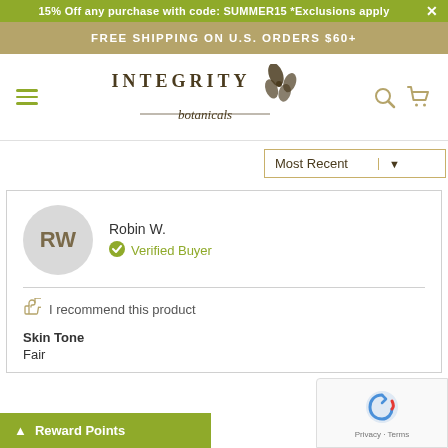15% Off any purchase with code: SUMMER15 *Exclusions apply
FREE SHIPPING ON U.S. ORDERS $60+
[Figure (logo): Integrity Botanicals logo with butterfly illustration]
Most Recent
Robin W.
Verified Buyer
I recommend this product
Skin Tone
Fair
Reward Points